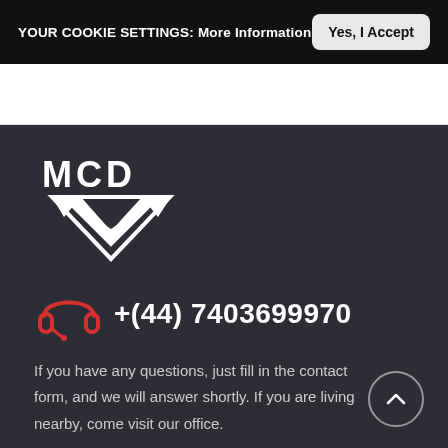YOUR COOKIE SETTINGS: More Information | Yes, I Accept
[Figure (logo): MCD logo with triangular downward-pointing geometric shape in white]
+(44) 7403699970
If you have any questions, just fill in the contact form, and we will answer shortly. If you are living nearby, come visit our office.
View on map